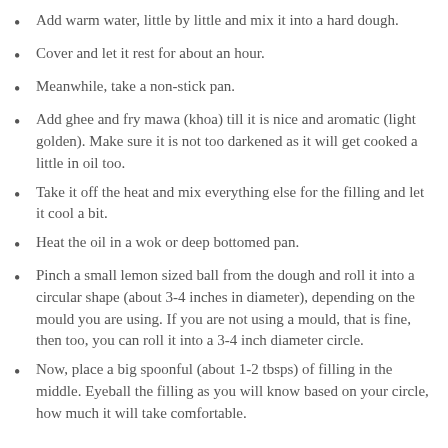Add warm water, little by little and mix it into a hard dough.
Cover and let it rest for about an hour.
Meanwhile, take a non-stick pan.
Add ghee and fry mawa (khoa) till it is nice and aromatic (light golden). Make sure it is not too darkened as it will get cooked a little in oil too.
Take it off the heat and mix everything else for the filling and let it cool a bit.
Heat the oil in a wok or deep bottomed pan.
Pinch a small lemon sized ball from the dough and roll it into a circular shape (about 3-4 inches in diameter), depending on the mould you are using. If you are not using a mould, that is fine, then too, you can roll it into a 3-4 inch diameter circle.
Now, place a big spoonful (about 1-2 tbsps) of filling in the middle. Eyeball the filling as you will know based on your circle, how much it will take comfortable.